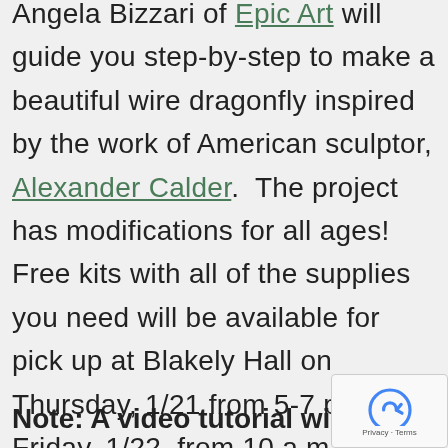Angela Bizzari of Epic Art will guide you step-by-step to make a beautiful wire dragonfly inspired by the work of American sculptor, Alexander Calder. The project has modifications for all ages! Free kits with all of the supplies you need will be available for pick up at Blakely Hall on Thursday, 1/21 from 5-7 p.m. or Friday, 1/22, from 10 a.m. to 4 p.m.
Note: A video tutorial will be